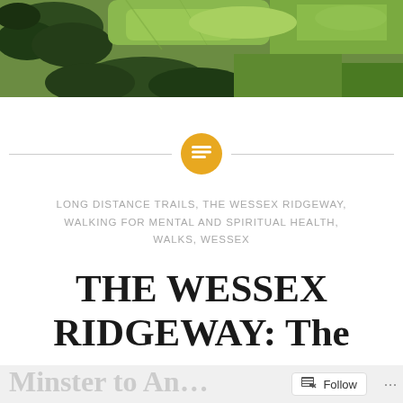[Figure (photo): Aerial photograph of green rolling countryside with trees and fields viewed from above]
[Figure (other): Horizontal divider line with a golden/amber circular icon containing a text/list lines symbol in the center]
LONG DISTANCE TRAILS, THE WESSEX RIDGEWAY, WALKING FOR MENTAL AND SPIRITUAL HEALTH, WALKS, WESSEX
THE WESSEX RIDGEWAY: The Stones to the Wheel – Iwerne Minster to An…